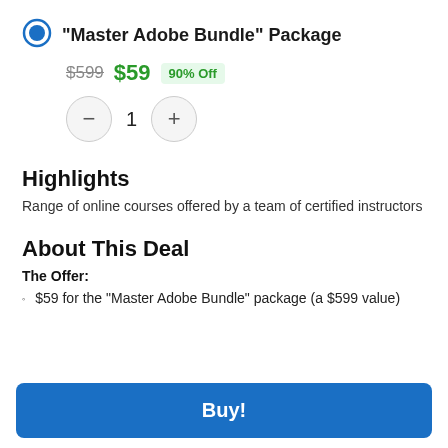"Master Adobe Bundle" Package
$599  $59  90% Off
[Figure (other): Quantity selector with minus button, number 1, and plus button]
Highlights
Range of online courses offered by a team of certified instructors
About This Deal
The Offer:
$59 for the "Master Adobe Bundle" package (a $599 value)
Buy!